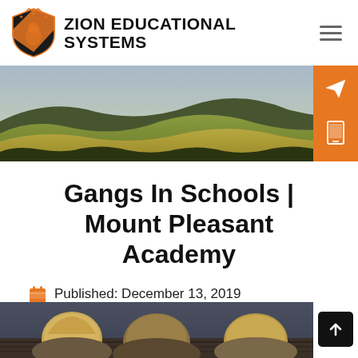ZION EDUCATIONAL SYSTEMS
[Figure (photo): Panoramic aerial landscape photo of rolling golden hills and valleys.]
Gangs In Schools | Mount Pleasant Academy
Published: December 13, 2019
Reading Time: 7 minutes
[Figure (photo): Children sitting at desks in a classroom, seen from behind.]